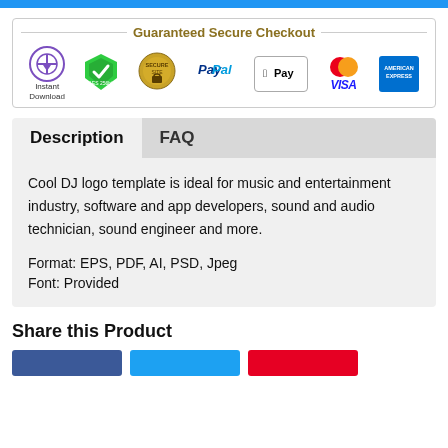[Figure (infographic): Guaranteed Secure Checkout banner with payment icons: Instant Download, AES-256bit green shield, Secure Site seal, PayPal, Apple Pay, Mastercard/VISA, American Express]
Description
FAQ
Cool DJ logo template is ideal for music and entertainment industry, software and app developers, sound and audio technician, sound engineer and more.
Format: EPS, PDF, AI, PSD, Jpeg
Font: Provided
Share this Product